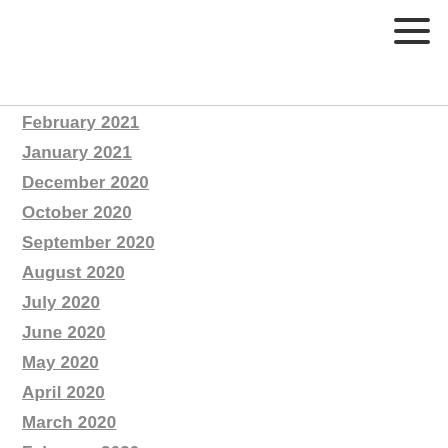February 2021
January 2021
December 2020
October 2020
September 2020
August 2020
July 2020
June 2020
May 2020
April 2020
March 2020
February 2020
January 2020
December 2019
November 2019
October 2019